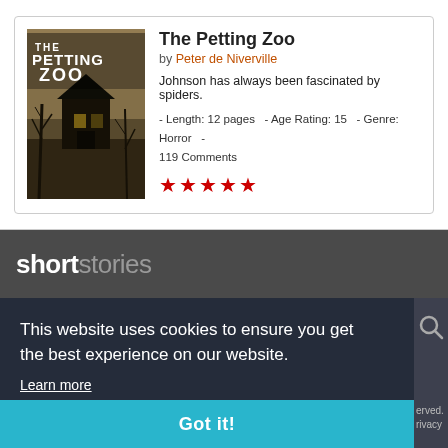[Figure (illustration): Book cover for 'The Petting Zoo' showing a dark atmospheric scene with a house and bare trees against a dim sky, with text overlay reading 'THE PETTING ZOO']
The Petting Zoo
by Peter de Niverville
Johnson has always been fascinated by spiders.
- Length: 12 pages   - Age Rating: 15   - Genre: Horror   - 119 Comments
★★★★★
shortstories
This website uses cookies to ensure you get the best experience on our website.
Learn more
Got it!